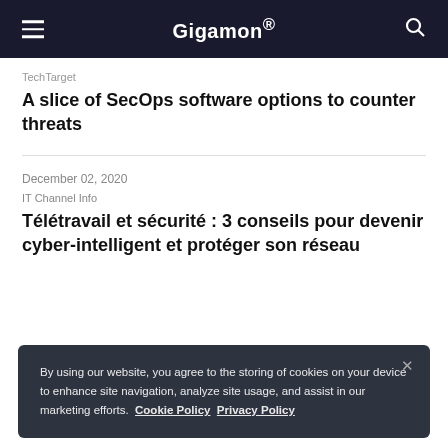Gigamon
TechTarget
A slice of SecOps software options to counter threats
December 02, 2020
IT Channel Info
Télétravail et sécurité : 3 conseils pour devenir cyber-intelligent et protéger son réseau
By using our website, you agree to the storing of cookies on your device to enhance site navigation, analyze site usage, and assist in our marketing efforts.  Cookie Policy  Privacy Policy